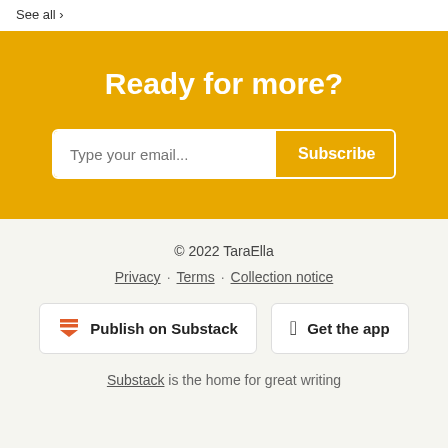See all ›
Ready for more?
Type your email... Subscribe
© 2022 TaraElla
Privacy · Terms · Collection notice
Publish on Substack
Get the app
Substack is the home for great writing